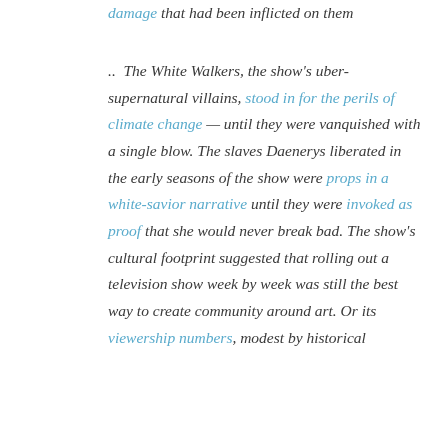damage that had been inflicted on them

.. The White Walkers, the show's uber-supernatural villains, stood in for the perils of climate change — until they were vanquished with a single blow. The slaves Daenerys liberated in the early seasons of the show were props in a white-savior narrative until they were invoked as proof that she would never break bad. The show's cultural footprint suggested that rolling out a television show week by week was still the best way to create community around art. Or its viewership numbers, modest by historical